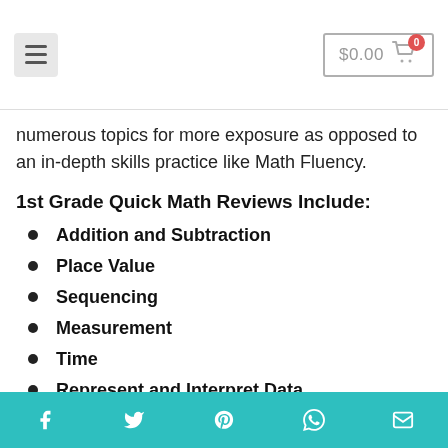$0.00 cart
numerous topics for more exposure as opposed to an in-depth skills practice like Math Fluency.
1st Grade Quick Math Reviews Include:
Addition and Subtraction
Place Value
Sequencing
Measurement
Time
Represent and Interpret Data
Shapes and Their Attributes
Social share icons: Facebook, Twitter, Pinterest, WhatsApp, Email